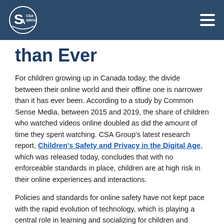CSA GROUP
than Ever
For children growing up in Canada today, the divide between their online world and their offline one is narrower than it has ever been. According to a study by Common Sense Media, between 2015 and 2019, the share of children who watched videos online doubled as did the amount of time they spent watching. CSA Group’s latest research report, Children’s Safety and Privacy in the Digital Age, which was released today, concludes that with no enforceable standards in place, children are at high risk in their online experiences and interactions.
Policies and standards for online safety have not kept pace with the rapid evolution of technology, which is playing a central role in learning and socializing for children and youth. The wave of internet regulation in the